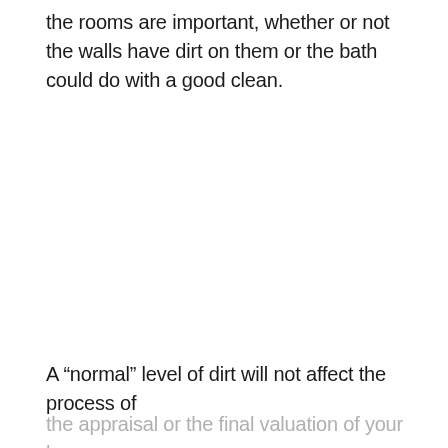the rooms are important, whether or not the walls have dirt on them or the bath could do with a good clean.
A “normal” level of dirt will not affect the process of
the appraisal or the final valuation of your home.